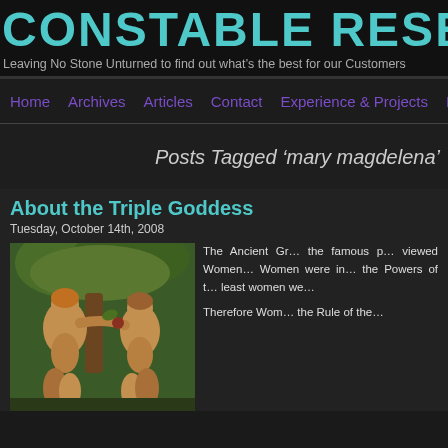CONSTABLE RESEARC
Leaving No Stone Unturned to find out what’s the best for our Customers
Home | Archives | Articles | Contact | Experience & Projects | Poetry
Posts Tagged ‘mary magdelena’
About the Triple Goddess
Tuesday, October 14th, 2008
[Figure (photo): Classical painting depicting two nude figures, one male and one female, in a garden setting with trees and foliage — appears to be Adam and Eve or similar biblical/mythological scene]
The Ancient Gr… the famous p… viewed Women… Women were in… the Powers of t… least women we…
Therefore Wom… the Rule of the…